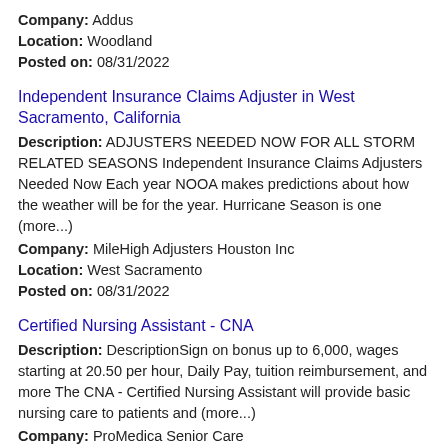Company: Addus
Location: Woodland
Posted on: 08/31/2022
Independent Insurance Claims Adjuster in West Sacramento, California
Description: ADJUSTERS NEEDED NOW FOR ALL STORM RELATED SEASONS Independent Insurance Claims Adjusters Needed Now Each year NOOA makes predictions about how the weather will be for the year. Hurricane Season is one (more...)
Company: MileHigh Adjusters Houston Inc
Location: West Sacramento
Posted on: 08/31/2022
Certified Nursing Assistant - CNA
Description: DescriptionSign on bonus up to 6,000, wages starting at 20.50 per hour, Daily Pay, tuition reimbursement, and more The CNA - Certified Nursing Assistant will provide basic nursing care to patients and (more...)
Company: ProMedica Senior Care
Location: Woodland
Posted on: 08/31/2022
RN - L&D